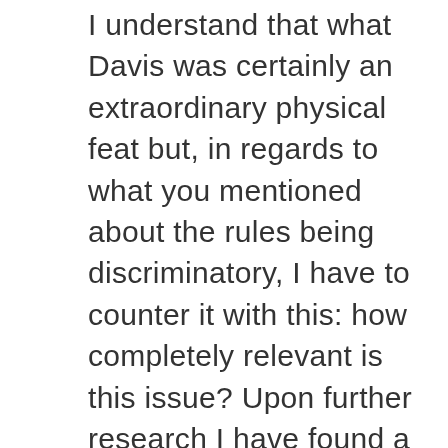I understand that what Davis was certainly an extraordinary physical feat but, in regards to what you mentioned about the rules being discriminatory, I have to counter it with this: how completely relevant is this issue? Upon further research I have found a list of all disabled politician and I have noticed that none of them are a part of the Texas State Legislature. Unless I have mistakenly missed someone, and I would apologize for that, I do not necessarily see the problem. These stricter rules, which have been rightfully picked out as a state power, do not interfere with disabled persons because they are not currently present in this political body. Yes, there is still plenty of time to gain disabled members in the legislature, but for now it is not an issue. What an excellent observation though! I have been studying filibusters recently and it had not crossed my mind that disabilities could be a